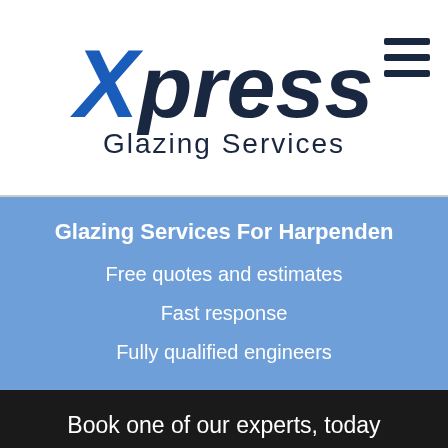[Figure (logo): Xpress Glazing Services logo with blue X and dark navy 'press' text, and 'Glazing Services' subtitle]
Glazing Services For Harpenden
Free quotes and estimates
Fast response
Fully qualified engineers
Book one of our experts, today
Click To Get a Free Quote
Calls made will not be charged